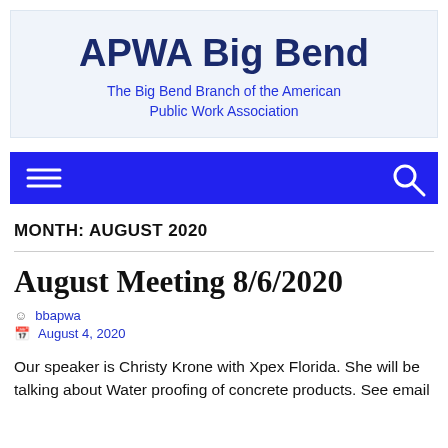APWA Big Bend
The Big Bend Branch of the American Public Work Association
[Figure (other): Navigation bar with menu icon and search icon on blue background]
MONTH: AUGUST 2020
August Meeting 8/6/2020
bbapwa
August 4, 2020
Our speaker is Christy Krone with Xpex Florida. She will be talking about Water proofing of concrete products. See email